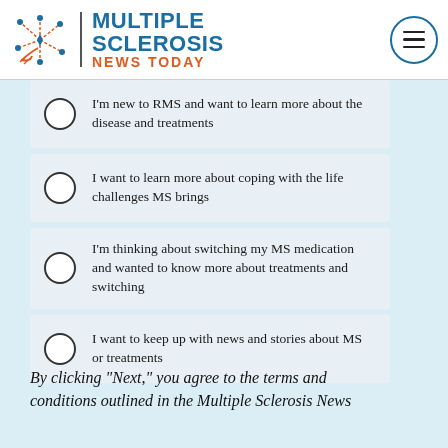Multiple Sclerosis News Today
I'm new to RMS and want to learn more about the disease and treatments
I want to learn more about coping with the life challenges MS brings
I'm thinking about switching my MS medication and wanted to know more about treatments and switching
I want to keep up with news and stories about MS or treatments
By clicking "Next," you agree to the terms and conditions outlined in the Multiple Sclerosis News